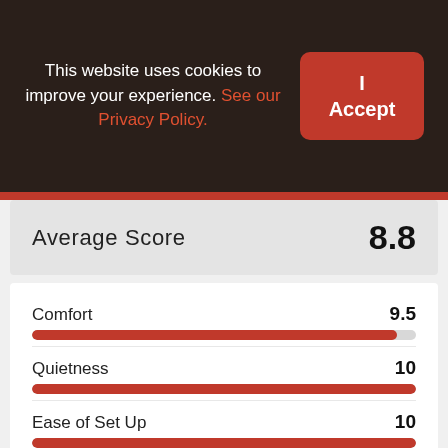This website uses cookies to improve your experience. See our Privacy Policy.
I Accept
Average Score  8.8
Comfort  9.5
Quietness  10
Ease of Set Up  10
Storage and Transportation  5
Value for Money  8